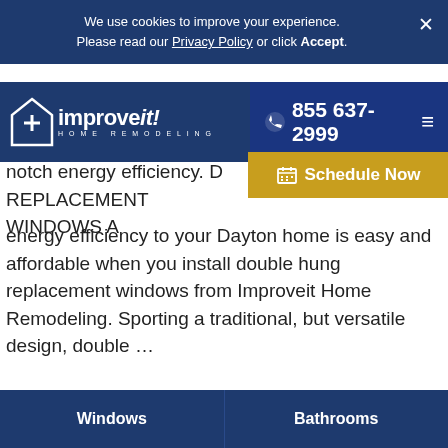We use cookies to improve your experience. Please read our Privacy Policy or click Accept.
[Figure (logo): Improveit Home Remodeling logo with house icon and stylized text]
855 637-2999
Schedule Now
notch energy efficiency. D... REPLACEMENT WINDOWS A... energy efficiency to your Dayton home is easy and affordable when you install double hung replacement windows from Improveit Home Remodeling. Sporting a traditional, but versatile design, double ...
[Figure (photo): White replacement windows displayed side by side]
Windows
Bathrooms